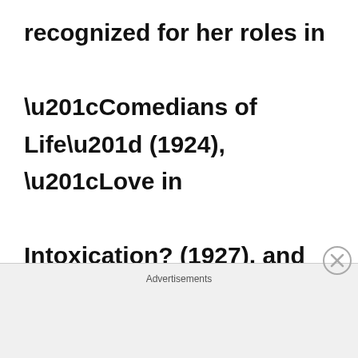recognized for her roles in “Comedians of Life” (1924), “Love in Intoxication? (1927), and “Marriage in Trouble” (1929).  At some point she was married to director Georg Jacoby. After the second world war she mostly
Advertisements